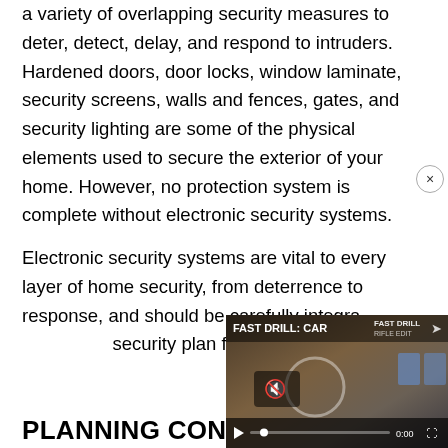a variety of overlapping security measures to deter, detect, delay, and respond to intruders. Hardened doors, door locks, window laminate, security screens, walls and fences, gates, and security lighting are some of the physical elements used to secure the exterior of your home. However, no protection system is complete without electronic security systems.
Electronic security systems are vital to every layer of home security, from deterrence to response, and should be carefully integrated into the overall security plan for your home.
[Figure (screenshot): Video player overlay showing 'FAST DRILL: CAR...' with play button, mute icon, progress bar at 0:00, and target shooting imagery in the background. A close (x) button appears in the top-right corner of the overlay.]
PLANNING CON